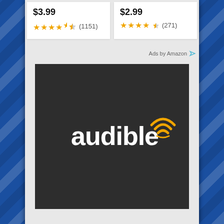$3.99
★★★★½ (1151)
$2.99
★★★★½ (271)
Ads by Amazon
[Figure (logo): Audible logo on dark background - white text 'audible' with orange wifi/signal icon]